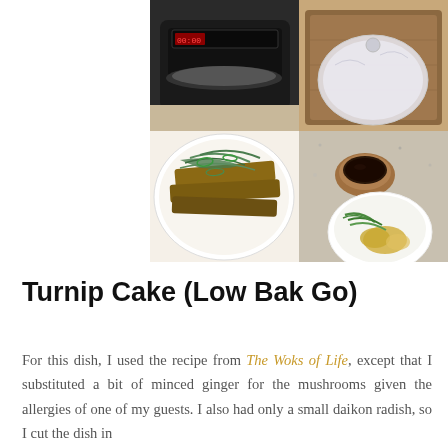[Figure (photo): A collage of four food preparation photos: top-left shows an Instant Pot pressure cooker, top-right shows a steaming lid on a wooden cutting board, bottom-left shows a plated turnip cake dish with green onions, bottom-right shows a bowl of dipping sauce, a small white bowl with green onions and ginger on a granite countertop.]
Turnip Cake (Low Bak Go)
For this dish, I used the recipe from The Woks of Life, except that I substituted a bit of minced ginger for the mushrooms given the allergies of one of my guests. I also had only a small daikon radish, so I cut the dish in